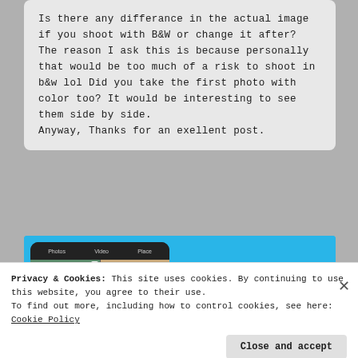Is there any differance in the actual image if you shoot with B&W or change it after? The reason I ask this is because personally that would be too much of a risk to shoot in b&w lol Did you take the first photo with color too? It would be interesting to see them side by side.
Anyway, Thanks for an exellent post.
[Figure (screenshot): Day One app advertisement banner with a phone screenshot on the left showing a photo journal grid, and on the right text reading 'DAY ONE' logo, 'Your Journal for life' headline, and a 'Get the app' button on a light blue background.]
Privacy & Cookies: This site uses cookies. By continuing to use this website, you agree to their use.
To find out more, including how to control cookies, see here: Cookie Policy
Close and accept